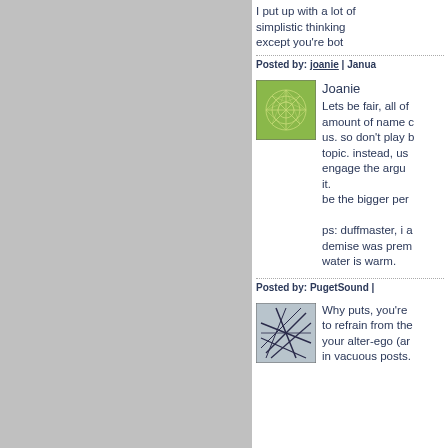I put up with a lot of simplistic thinking... except you're bot...
Posted by: joanie | Janua...
Joanie
Lets be fair, all of... amount of name c... us. so don't play b... topic. instead, us... engage the argu... it.
be the bigger per...

ps: duffmaster, i a... demise was prem... water is warm.
Posted by: PugetSound |
Why puts, you're... to refrain from the... your alter-ego (ar... in vacuous posts.